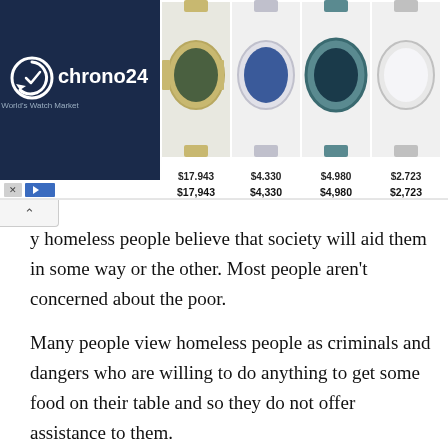[Figure (screenshot): Chrono24 advertisement banner showing logo on dark navy background on left, and four watch images with prices: $17,943, $4,330, $4,980, $2,723]
y homeless people believe that society will aid them in some way or the other. Most people aren't concerned about the poor.
Many people view homeless people as criminals and dangers who are willing to do anything to get some food on their table and so they do not offer assistance to them.
There are decent people in the society who will offer at the very least food and warm clothing. Others go as far as creating a space where the homeless can stay at any